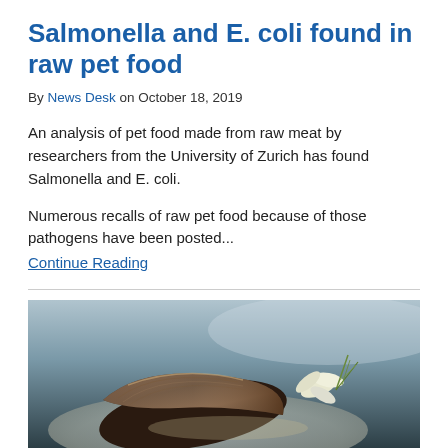Salmonella and E. coli found in raw pet food
By News Desk on October 18, 2019
An analysis of pet food made from raw meat by researchers from the University of Zurich has found Salmonella and E. coli.
Numerous recalls of raw pet food because of those pathogens have been posted... Continue Reading
[Figure (photo): Photo of a mussel/shellfish on a plate with garnish, partially visible at bottom of page]